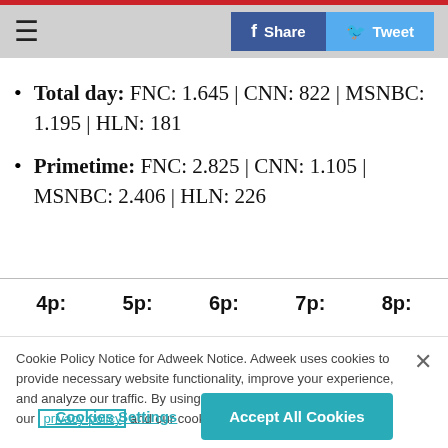≡  [Share] [Tweet]
Total day: FNC: 1.645 | CNN: 822 | MSNBC: 1.195 | HLN: 181
Primetime: FNC: 2.825 | CNN: 1.105 | MSNBC: 2.406 | HLN: 226
4p:   5p:   6p:   7p:   8p:
Cookie Policy Notice for Adweek Notice. Adweek uses cookies to provide necessary website functionality, improve your experience, and analyze our traffic. By using our website, you agree to our privacy policy and our cookies usage.
Cookies Settings   Accept All Cookies